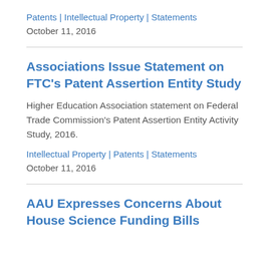Patents | Intellectual Property | Statements
October 11, 2016
Associations Issue Statement on FTC's Patent Assertion Entity Study
Higher Education Association statement on Federal Trade Commission's Patent Assertion Entity Activity Study, 2016.
Intellectual Property | Patents | Statements
October 11, 2016
AAU Expresses Concerns About House Science Funding Bills